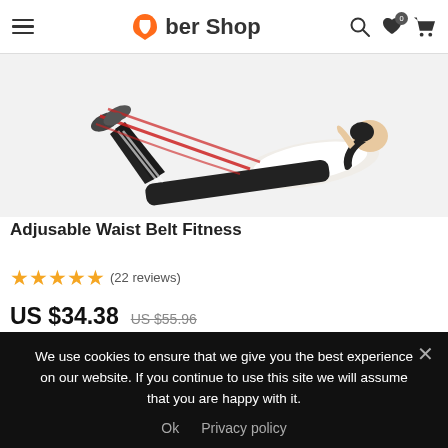Uber Shop
[Figure (photo): Woman lying on her back doing resistance band leg exercise, wearing black workout pants and white top, with red resistance bands attached to her feet]
Adjusable Waist Belt Fitness
★★★★★ (22 reviews)
US $34.38  US $55.96
small straight screwdriver
We use cookies to ensure that we give you the best experience on our website. If you continue to use this site we will assume that you are happy with it.
Ok  Privacy policy